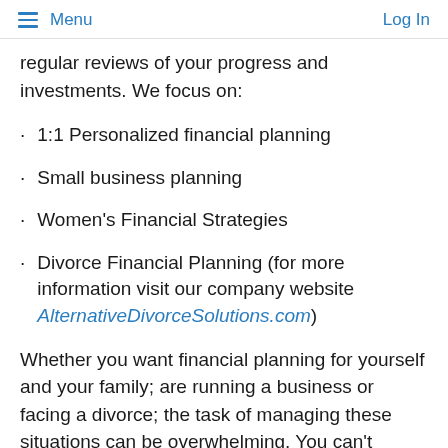Menu | Log In
regular reviews of your progress and investments. We focus on:
1:1 Personalized financial planning
Small business planning
Women's Financial Strategies
Divorce Financial Planning (for more information visit our company website AlternativeDivorceSolutions.com)
Whether you want financial planning for yourself and your family; are running a business or facing a divorce; the task of managing these situations can be overwhelming. You can't predict the future, but you can manage it.